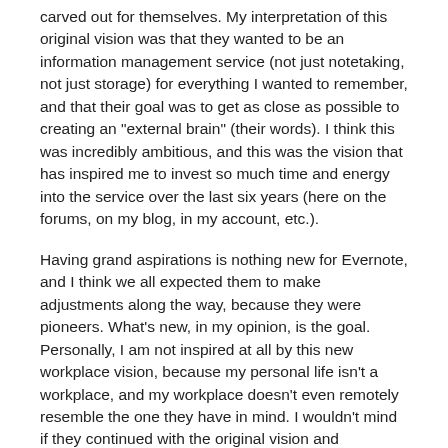carved out for themselves. My interpretation of this original vision was that they wanted to be an information management service (not just notetaking, not just storage) for everything I wanted to remember, and that their goal was to get as close as possible to creating an "external brain" (their words). I think this was incredibly ambitious, and this was the vision that has inspired me to invest so much time and energy into the service over the last six years (here on the forums, on my blog, in my account, etc.).
Having grand aspirations is nothing new for Evernote, and I think we all expected them to make adjustments along the way, because they were pioneers. What's new, in my opinion, is the goal. Personally, I am not inspired at all by this new workplace vision, because my personal life isn't a workplace, and my workplace doesn't even remotely resemble the one they have in mind. I wouldn't mind if they continued with the original vision and somehow layered this on top, like a visionary sandwich. But, that isn't going to happen.
Evernote surely did this for a reason. I suspect it had something to do with monetization as they try to move towards an eventual IPO. I figure that Evernote knows what's best for their company, though I don't think they know what is best for me. I expect they will continue to be